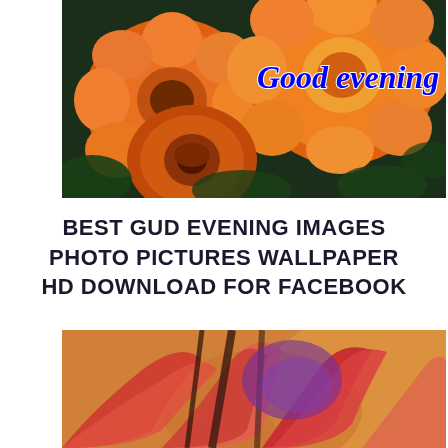[Figure (photo): Close-up photo of orange marigold flowers with dark green leaves in the background. Blue cursive text 'Good evening' overlaid on the upper right of the image.]
BEST GUD EVENING IMAGES PHOTO PICTURES WALLPAPER HD DOWNLOAD FOR FACEBOOK
[Figure (photo): Close-up photo of red/coral gladiolus or similar flowers with warm golden/orange background tones.]